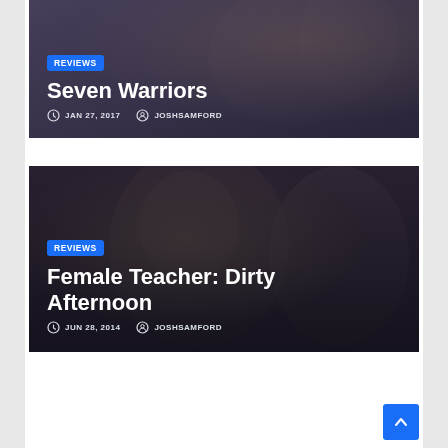[Figure (screenshot): Card image for Seven Warriors article with dark overlay showing people in background]
REVIEWS
Seven Warriors
JAN 27, 2017  JOSHSAMFORD
[Figure (screenshot): Card image for Female Teacher: Dirty Afternoon article with close-up of woman on phone]
REVIEWS
Female Teacher: Dirty Afternoon
JUN 28, 2014  JOSHSAMFORD